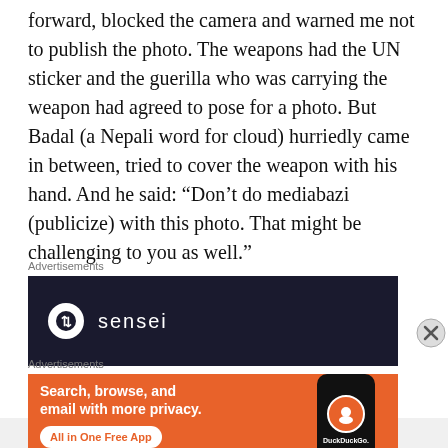forward, blocked the camera and warned me not to publish the photo. The weapons had the UN sticker and the guerilla who was carrying the weapon had agreed to pose for a photo. But Badal (a Nepali word for cloud) hurriedly came in between, tried to cover the weapon with his hand. And he said: “Don’t do mediabazi (publicize) with this photo. That might be challenging to you as well.”
[Figure (other): Advertisement banner for Sensei with dark background showing circular logo and the word 'sensei' in white text]
[Figure (other): Advertisement banner for DuckDuckGo showing orange background with text 'Search, browse, and email with more privacy. All in One Free App' and a phone graphic with DuckDuckGo logo]